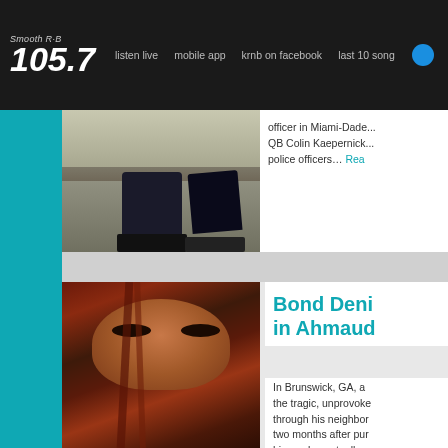Smooth R&B 105.7 | listen live | mobile app | krnb on facebook | last 10 songs
[Figure (photo): Photo of a person kneeling on a sidewalk in front of police officers, related to Colin Kaepernick story]
officer in Miami-Dade... QB Colin Kaepernick... police officers… Read more
Bond Denied in Ahmaud
[Figure (photo): Close-up photo of a person with red hair wearing a blue face mask, looking at the camera]
In Brunswick, GA, a the tragic, unprovoke through his neighbor two months after pur him and eventually s